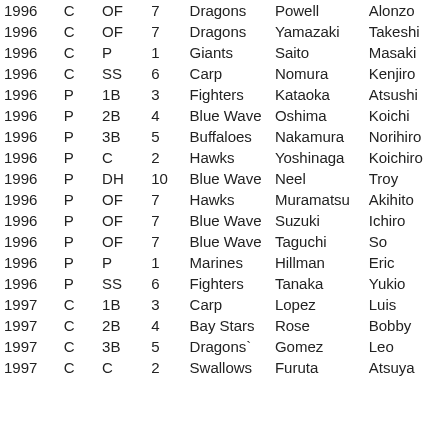| 1996 | C | OF | 7 | Dragons | Powell | Alonzo |
| 1996 | C | OF | 7 | Dragons | Yamazaki | Takeshi |
| 1996 | C | P | 1 | Giants | Saito | Masaki |
| 1996 | C | SS | 6 | Carp | Nomura | Kenjiro |
| 1996 | P | 1B | 3 | Fighters | Kataoka | Atsushi |
| 1996 | P | 2B | 4 | Blue Wave | Oshima | Koichi |
| 1996 | P | 3B | 5 | Buffaloes | Nakamura | Norihiro |
| 1996 | P | C | 2 | Hawks | Yoshinaga | Koichiro |
| 1996 | P | DH | 10 | Blue Wave | Neel | Troy |
| 1996 | P | OF | 7 | Hawks | Muramatsu | Akihito |
| 1996 | P | OF | 7 | Blue Wave | Suzuki | Ichiro |
| 1996 | P | OF | 7 | Blue Wave | Taguchi | So |
| 1996 | P | P | 1 | Marines | Hillman | Eric |
| 1996 | P | SS | 6 | Fighters | Tanaka | Yukio |
| 1997 | C | 1B | 3 | Carp | Lopez | Luis |
| 1997 | C | 2B | 4 | Bay Stars | Rose | Bobby |
| 1997 | C | 3B | 5 | Dragons` | Gomez | Leo |
| 1997 | C | C | 2 | Swallows | Furuta | Atsuya |